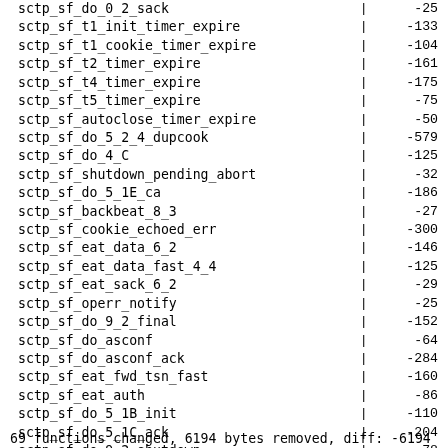| function | | | value |
| --- | --- | --- |
| sctp_sf_do_0_2_sack | | | -25 |
| sctp_sf_t1_init_timer_expire | | | -133 |
| sctp_sf_t1_cookie_timer_expire | | | -104 |
| sctp_sf_t2_timer_expire | | | -161 |
| sctp_sf_t4_timer_expire | | | -175 |
| sctp_sf_t5_timer_expire | | | -75 |
| sctp_sf_autoclose_timer_expire | | | -50 |
| sctp_sf_do_5_2_4_dupcook | | | -579 |
| sctp_sf_do_4_C | | | -125 |
| sctp_sf_shutdown_pending_abort | | | -32 |
| sctp_sf_do_5_1E_ca | | | -186 |
| sctp_sf_backbeat_8_3 | | | -27 |
| sctp_sf_cookie_echoed_err | | | -300 |
| sctp_sf_eat_data_6_2 | | | -146 |
| sctp_sf_eat_data_fast_4_4 | | | -125 |
| sctp_sf_eat_sack_6_2 | | | -29 |
| sctp_sf_operr_notify | | | -25 |
| sctp_sf_do_9_2_final | | | -152 |
| sctp_sf_do_asconf | | | -64 |
| sctp_sf_do_asconf_ack | | | -284 |
| sctp_sf_eat_fwd_tsn_fast | | | -160 |
| sctp_sf_eat_auth | | | -86 |
| sctp_sf_do_5_1B_init | | | -110 |
| sctp_sf_do_5_1C_ack | | | -204 |
| sctp_sf_do_9_2_shutdown | | | -78 |
| sctp_sf_do_ecn_cwr | | | -24 |
| sctp_sf_do_ecne | | | -32 |
| sctp_sf_eat_fwd_tsn | | | -135 |
| sctp_sf_do_5_1D_ce | | | -197 |
| sctp_sf_beat_8_3 | | | -28 |
69 functions changed, 6194 bytes removed, diff: -6194